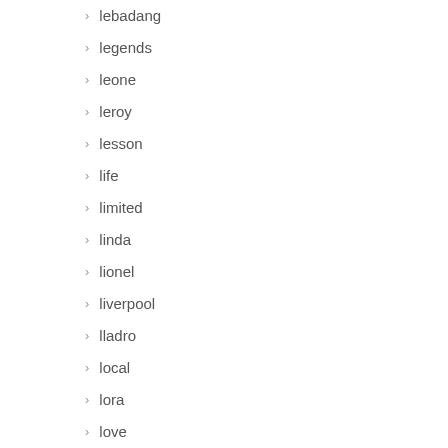> lebadang
> legends
> leone
> leroy
> lesson
> life
> limited
> linda
> lionel
> liverpool
> lladro
> local
> lora
> love
> luka